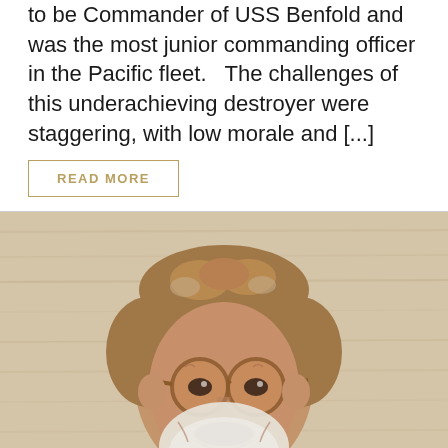to be Commander of USS Benfold and was the most junior commanding officer in the Pacific fleet.   The challenges of this underachieving destroyer were staggering, with low morale and [...]
READ MORE
[Figure (photo): Smiling older man with curly salt-and-pepper hair, round amber-tinted glasses, white beard, wearing a dark brown/black crew-neck shirt, photographed against a light wood-grain background.]